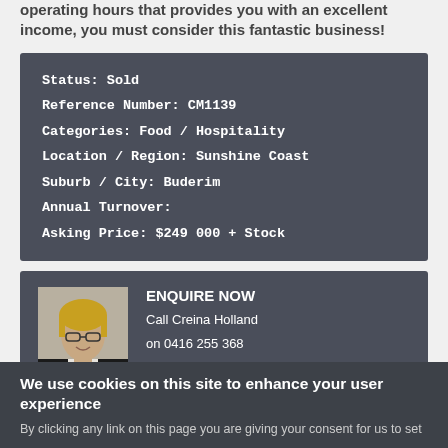operating hours that provides you with an excellent income, you must consider this fantastic business!
| Status: | Sold |
| Reference Number: | CM1139 |
| Categories: | Food / Hospitality |
| Location / Region: | Sunshine Coast |
| Suburb / City: | Buderim |
| Annual Turnover: |  |
| Asking Price: | $249 000 + Stock |
[Figure (photo): Headshot photo of Creina Holland, a woman with short blonde hair and glasses, wearing a black jacket]
ENQUIRE NOW
Call Creina Holland
on 0416 255 368
Or fill out the enquiry form below and we will
We use cookies on this site to enhance your user experience
By clicking any link on this page you are giving your consent for us to set